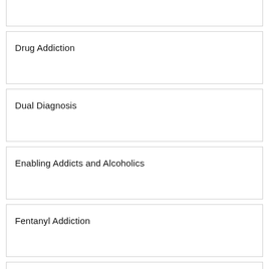Drug Addiction
Dual Diagnosis
Enabling Addicts and Alcoholics
Fentanyl Addiction
GHB Addiction